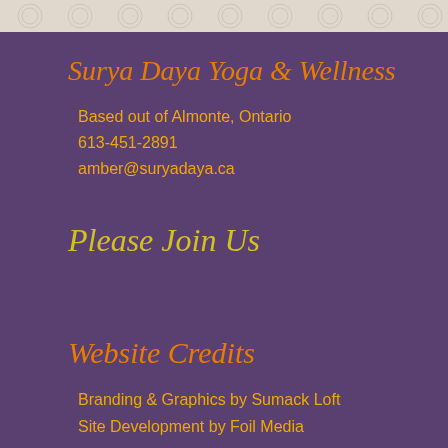Surya Daya Yoga & Wellness
Based out of Almonte, Ontario
613-451-2891
amber@suryadaya.ca
Please Join Us
Website Credits
Branding & Graphics by Sumack Loft
Site Development by Foil Media